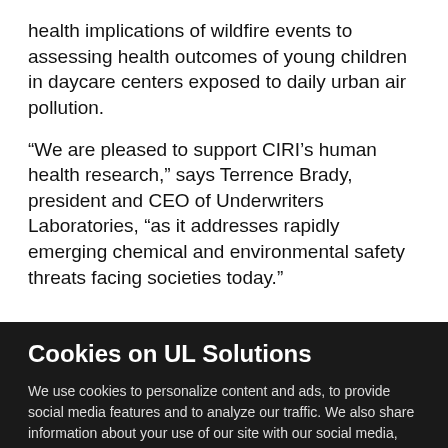health implications of wildfire events to assessing health outcomes of young children in daycare centers exposed to daily urban air pollution.
“We are pleased to support CIRI’s human health research,” says Terrence Brady, president and CEO of Underwriters Laboratories, “as it addresses rapidly emerging chemical and environmental safety threats facing societies today.”
Cookies on UL Solutions
We use cookies to personalize content and ads, to provide social media features and to analyze our traffic. We also share information about your use of our site with our social media, advertising and analytics partners. Learn more
Cookies Settings
Accept All Cookies